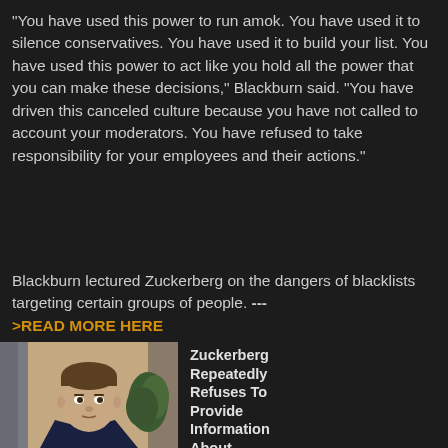“You have used this power to run amok. You have used it to silence conservatives. You have used it to build your list. You have used this power to act like you hold all the power that you can make these decisions,” Blackburn said. “You have driven this canceled culture because you have not called to account your moderators. You have refused to take responsibility for your employees and their actions.”
Blackburn lectured Zuckerberg on the dangers of blacklists targeting certain groups of people. --->READ MORE HERE
[Figure (photo): Photo of Mark Zuckerberg in a dark suit and blue tie, looking into the camera, with a plant visible in the background. Label reads 'Mark Zuckerberg'.]
Zuckerberg Repeatedly Refuses To Provide Information About Censorship Coordination With Other Big